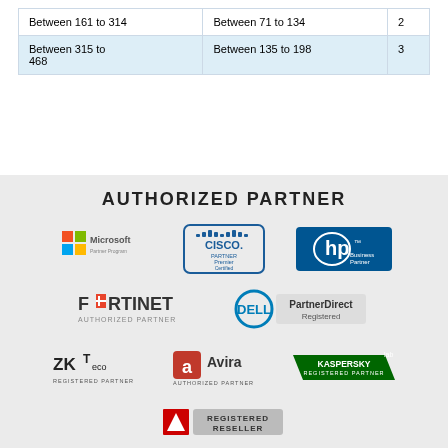| Between 161 to 314 | Between 71 to 134 | 2 |
| Between 315 to
468 | Between 135 to 198 | 3 |
AUTHORIZED PARTNER
[Figure (logo): Authorized partner logos: Microsoft Partner Program, Cisco Partner Premier Certified, HP Business Partner, Fortinet Authorized Partner, Dell PartnerDirect Registered, ZKTeco Registered Partner, Avira Authorized Partner, Kaspersky Registered Partner, Adobe Registered Reseller]